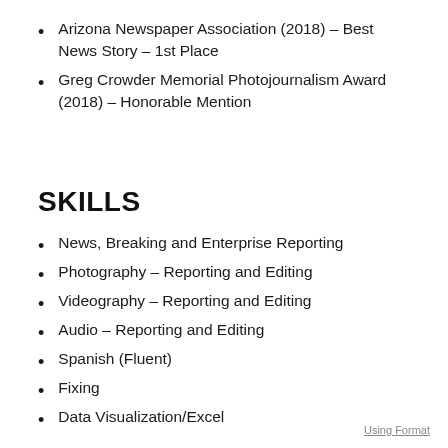Arizona Newspaper Association (2018) – Best News Story – 1st Place
Greg Crowder Memorial Photojournalism Award (2018) – Honorable Mention
SKILLS
News, Breaking and Enterprise Reporting
Photography – Reporting and Editing
Videography – Reporting and Editing
Audio – Reporting and Editing
Spanish (Fluent)
Fixing
Data Visualization/Excel
Using Format